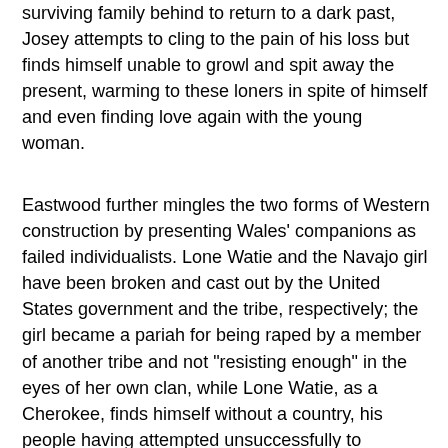surviving family behind to return to a dark past, Josey attempts to cling to the pain of his loss but finds himself unable to growl and spit away the present, warming to these loners in spite of himself and even finding love again with the young woman.
Eastwood further mingles the two forms of Western construction by presenting Wales' companions as failed individualists. Lone Watie and the Navajo girl have been broken and cast out by the United States government and the tribe, respectively; the girl became a pariah for being raped by a member of another tribe and not "resisting enough" in the eyes of her own clan, while Lone Watie, as a Cherokee, finds himself without a country, his people having attempted unsuccessfully to ingratiate themselves with the U.S. and subsequently faced with scorn from racist whites and outraged natives. Grandma Sarah and Laura Lee stayed behind on their homestead with Sarah's husband while her son (and Laura's father) struck out on his own to provide for his parents and daughter, but when the group arrives in the town where he went to make his fortune they find it deserted, having dried up with the silver vein. Any one of them could